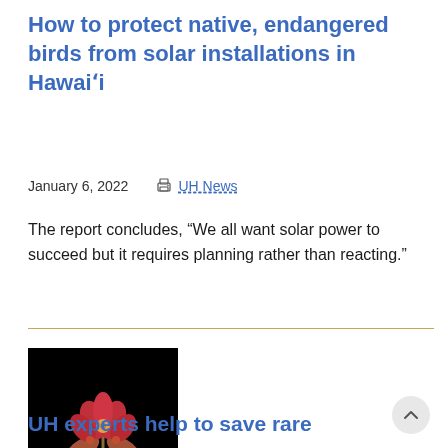How to protect native, endangered birds from solar installations in Hawaiʻi
January 6, 2022    UH News
The report concludes, “We all want solar power to succeed but it requires planning rather than reacting.”
[Figure (photo): Photo of a plant with red flowers and green leaves against a black background]
UH experts help to save rare